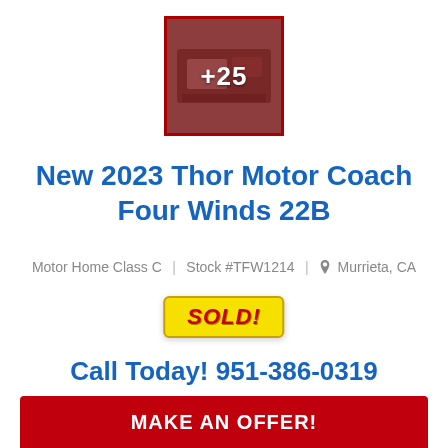[Figure (photo): Thumbnail image of RV interior with red overlay showing +25 additional photos]
New 2023 Thor Motor Coach Four Winds 22B
Motor Home Class C   Stock #TFW1214   Murrieta, CA
SOLD!
Call Today! 951-386-0319
MAKE AN OFFER!